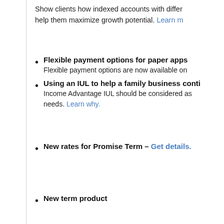Show clients how indexed accounts with different crediting strategies can help them maximize growth potential. Learn more.
Flexible payment options for paper apps — Flexible payment options are now available on...
Using an IUL to help a family business conti... — Income Advantage IUL should be considered as... needs. Learn why.
New rates for Promise Term – Get details.
New term product